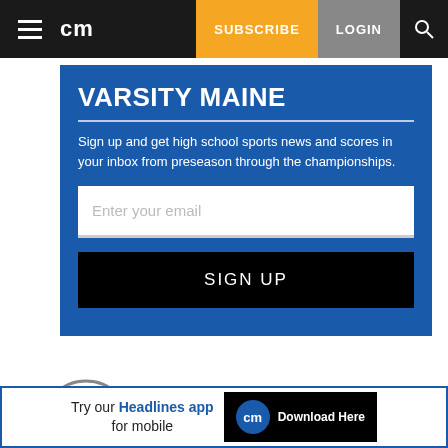cm | SUBSCRIBE | LOGIN
VARSITY MAINE
Sign up and get high school sports news and scores in your inbox from preseason through the championships.
Enter your email
SIGN UP
[Figure (other): Play button icon (circular outlined play triangle button)]
[Figure (other): Advertisement banner: Try our Headlines app for mobile — cm Download Here]